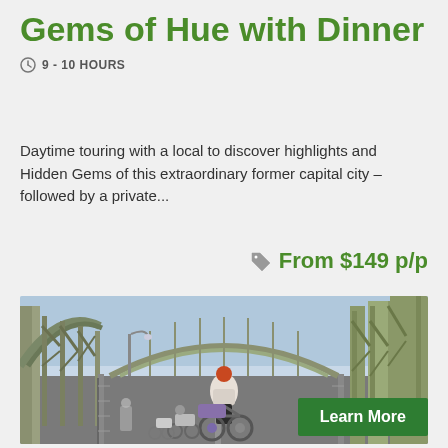Gems of Hue with Dinner
9 - 10 HOURS
Daytime touring with a local to discover highlights and Hidden Gems of this extraordinary former capital city – followed by a private...
From $149 p/p
[Figure (photo): Person riding a cyclo (rickshaw) across a steel bridge in Hue, Vietnam, with motorcycles behind. Steel truss bridge structure visible on both sides.]
Learn More